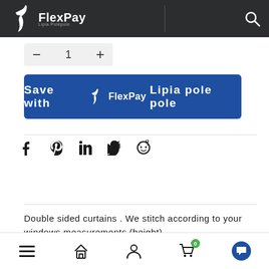FlexPay
- 1 +
[Figure (screenshot): FlexPay 'Save with FlexPay Lipia pole pole' blue call-to-action button]
[Figure (other): Social share icons row: Facebook, Pinterest, LinkedIn, Twitter, Reddit]
Double sided curtains . We stitch according to your windows measurements (height)
Bottom navigation bar with menu, home, account, cart and chat icons